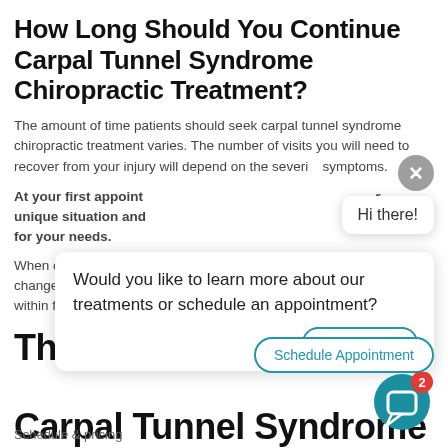How Long Should You Continue Carpal Tunnel Syndrome Chiropractic Treatment?
The amount of time patients should seek carpal tunnel syndrome chiropractic treatment varies. The number of visits you will need to recover from your injury will depend on the severity of your symptoms.
At your first appointment, your chiropractor will assess your unique situation and create a custom treatment plan suited for your needs.
When chiropractic care is combined with other lifestyle changes, most patients find that symptoms generally improve within four to six weeks.
The Road to Recovery from Carpal Tunnel Syndrome Is Just Around the Corner
Schedule & pricing